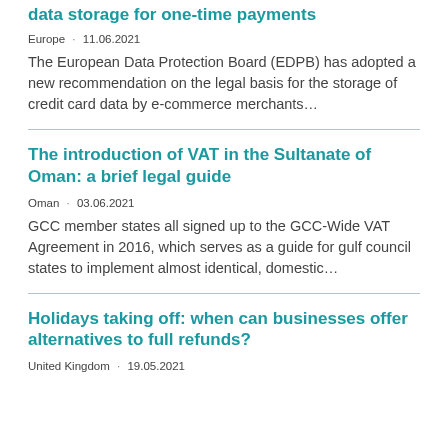data storage for one-time payments
Europe · 11.06.2021
The European Data Protection Board (EDPB) has adopted a new recommendation on the legal basis for the storage of credit card data by e-commerce merchants…
The introduction of VAT in the Sultanate of Oman: a brief legal guide
Oman · 03.06.2021
GCC member states all signed up to the GCC-Wide VAT Agreement in 2016, which serves as a guide for gulf council states to implement almost identical, domestic…
Holidays taking off: when can businesses offer alternatives to full refunds?
United Kingdom · 19.05.2021